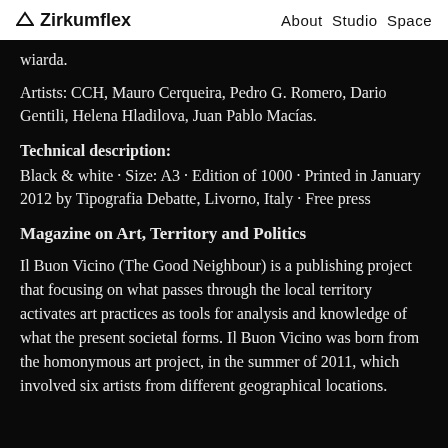Zirkumflex   About Studio Space
wiarda.
Artists: CCH, Mauro Cerqueira, Pedro G. Romero, Dario Gentili, Helena Hladilova, Juan Pablo Macías.
Technical description:
Black & white · Size: A3 · Edition of 1000 · Printed in January 2012 by Tipografia Debatte, Livorno, Italy · Free press
Magazine on Art, Territory and Politics
Il Buon Vicino (The Good Neighbour) is a publishing project that focusing on what passes through the local territory activates art practices as tools for analysis and knowledge of what the present societal forms. Il Buon Vicino was born from the homonymous art project, in the summer of 2011, which involved six artists from different geographical locations.